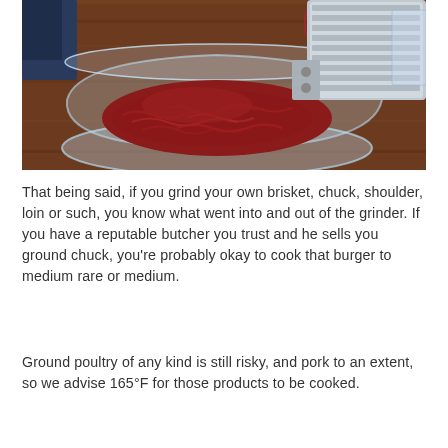[Figure (photo): A meat grinder grinding red meat (ground beef) into a clear glass bowl on a wooden surface. The stainless steel grinder is visible in the upper right.]
That being said, if you grind your own brisket, chuck, shoulder, loin or such, you know what went into and out of the grinder. If you have a reputable butcher you trust and he sells you ground chuck, you're probably okay to cook that burger to medium rare or medium.
Ground poultry of any kind is still risky, and pork to an extent, so we advise 165°F for those products to be cooked.